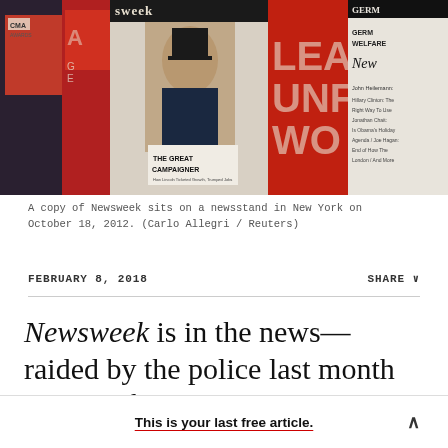[Figure (photo): A newsstand display showing multiple magazines including Newsweek with Abraham Lincoln on the cover reading 'The Great Campaigner', along with other partially visible magazine covers.]
A copy of Newsweek sits on a newsstand in New York on October 18, 2012. (Carlo Allegri / Reuters)
FEBRUARY 8, 2018     SHARE ∨
Newsweek is in the news—raided by the police last month as part of a probe into the owners' shady
This is your last free article.